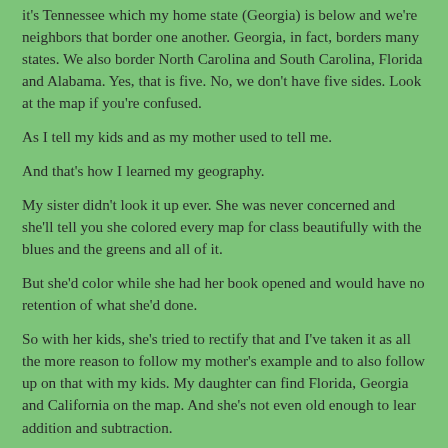it's Tennessee which my home state (Georgia) is below and we're neighbors that border one another. Georgia, in fact, borders many states. We also border North Carolina and South Carolina, Florida and Alabama. Yes, that is five. No, we don't have five sides. Look at the map if you're confused.
As I tell my kids and as my mother used to tell me.
And that's how I learned my geography.
My sister didn't look it up ever. She was never concerned and she'll tell you she colored every map for class beautifully with the blues and the greens and all of it.
But she'd color while she had her book opened and would have no retention of what she'd done.
So with her kids, she's tried to rectify that and I've taken it as all the more reason to follow my mother's example and to also follow up on that with my kids. My daughter can find Florida, Georgia and California on the map. And she's not even old enough to lear addition and subtraction.